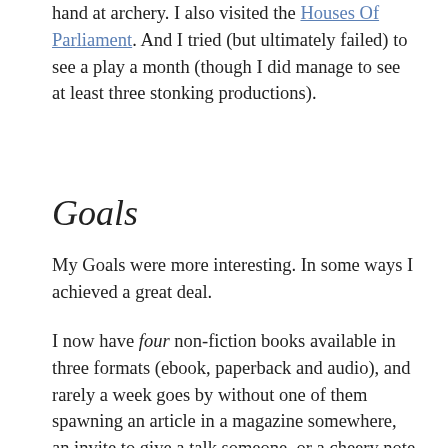hand at archery. I also visited the Houses Of Parliament. And I tried (but ultimately failed) to see a play a month (though I did manage to see at least three stonking productions).
Goals
My Goals were more interesting. In some ways I achieved a great deal.
I now have four non-fiction books available in three formats (ebook, paperback and audio), and rarely a week goes by without one of them spawning an article in a magazine somewhere, an invite to give a talk someone, or a cheery note from a reader who felt moved enough to tell me they got something out of the words that I wrote. That’s a nice feeling. It makes me happy.